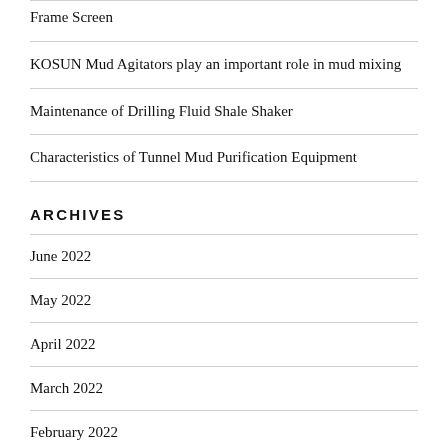Frame Screen
KOSUN Mud Agitators play an important role in mud mixing
Maintenance of Drilling Fluid Shale Shaker
Characteristics of Tunnel Mud Purification Equipment
ARCHIVES
June 2022
May 2022
April 2022
March 2022
February 2022